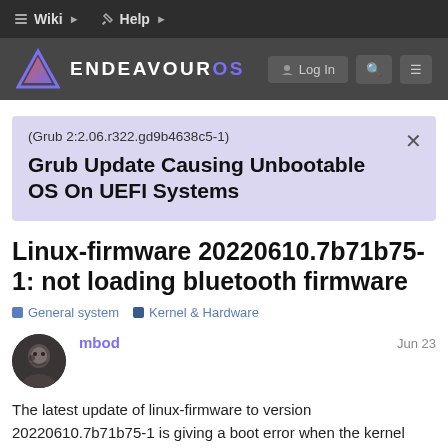Wiki  Help
[Figure (logo): EndeavourOS logo with purple triangle icon and site name in white/purple text on dark background]
(Grub 2:2.06.r322.gd9b4638c5-1)
Grub Update Causing Unbootable OS On UEFI Systems
Linux-firmware 20220610.7b71b75-1: not loading bluetooth firmware
General system  Kernel & Hardware
mbod   Jun 23
The latest update of linux-firmware to version 20220610.7b71b75-1 is giving a boot error when the kernel tries